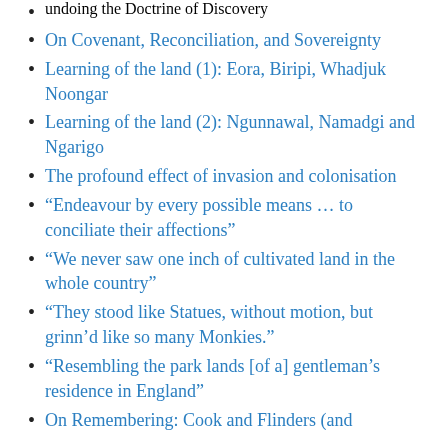undoing the Doctrine of Discovery
On Covenant, Reconciliation, and Sovereignty
Learning of the land (1): Eora, Biripi, Whadjuk Noongar
Learning of the land (2): Ngunnawal, Namadgi and Ngarigo
The profound effect of invasion and colonisation
“Endeavour by every possible means … to conciliate their affections”
“We never saw one inch of cultivated land in the whole country”
“They stood like Statues, without motion, but grinn’d like so many Monkies.”
“Resembling the park lands [of a] gentleman’s residence in England”
On Remembering: Cook and Flinders (and